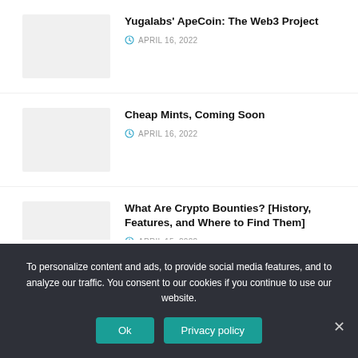Yugalabs' ApeCoin: The Web3 Project
APRIL 16, 2022
Cheap Mints, Coming Soon
APRIL 16, 2022
What Are Crypto Bounties? [History, Features, and Where to Find Them]
APRIL 15, 2022
Recent News
To personalize content and ads, to provide social media features, and to analyze our traffic. You consent to our cookies if you continue to use our website.
Ok
Privacy policy